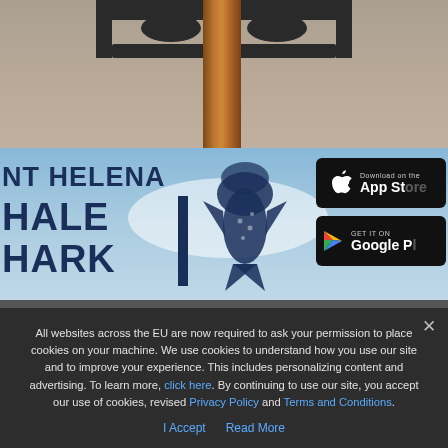[Figure (photo): Top portion of a wooden post with a metal bracket/frame sign holder at the top, against a gray pavement background]
[Figure (illustration): Banner for 'ST HELENA WHALE SHARK' app with dark blue text on a light blue sky background, whale shark logo illustration, Apple App Store button, and Google Play button on the right]
All websites across the EU are now required to ask your permission to place cookies on your machine. We use cookies to understand how you use our site and to improve your experience. This includes personalizing content and advertising. To learn more, click here. By continuing to use our site, you accept our use of cookies, revised Privacy Policy and Terms and Conditions.
I Accept
Read More